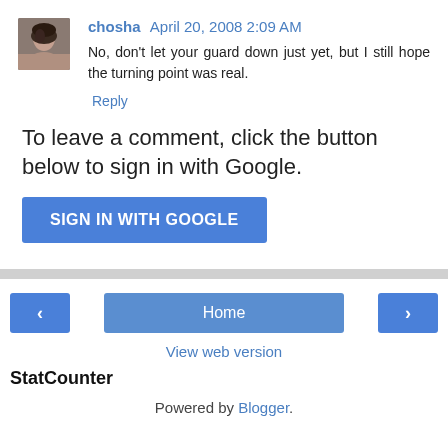[Figure (photo): Small avatar photo of a young woman with dark hair]
chosha April 20, 2008 2:09 AM
No, don't let your guard down just yet, but I still hope the turning point was real.
Reply
To leave a comment, click the button below to sign in with Google.
[Figure (other): SIGN IN WITH GOOGLE button]
< Home >
View web version
StatCounter
Powered by Blogger.